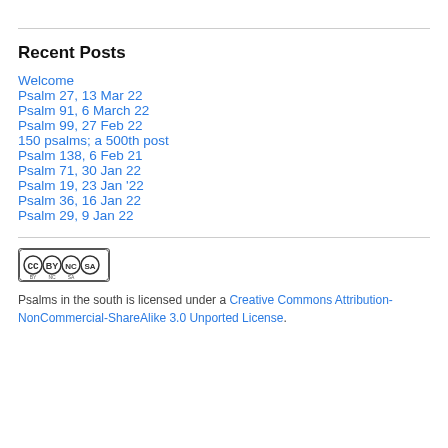Recent Posts
Welcome
Psalm 27, 13 Mar 22
Psalm 91, 6 March 22
Psalm 99, 27 Feb 22
150 psalms; a 500th post
Psalm 138, 6 Feb 21
Psalm 71, 30 Jan 22
Psalm 19, 23 Jan '22
Psalm 36, 16 Jan 22
Psalm 29, 9 Jan 22
[Figure (logo): Creative Commons BY NC SA license badge]
Psalms in the south is licensed under a Creative Commons Attribution-NonCommercial-ShareAlike 3.0 Unported License.